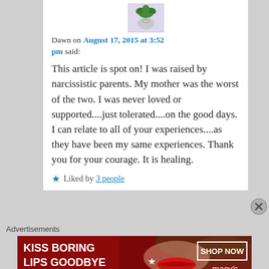[Figure (illustration): Small avatar image showing a cartoon character with green leafy top, lavender background]
Dawn on August 17, 2015 at 3:52 pm said:
This article is spot on! I was raised by narcissistic parents. My mother was the worst of the two. I was never loved or supported....just tolerated....on the good days. I can relate to all of your experiences....as they have been my same experiences. Thank you for your courage. It is healing.
★ Liked by 3 people
Advertisements
[Figure (photo): Macy's lipstick advertisement banner. Red background with woman's face showing lips. Text: KISS BORING LIPS GOODBYE, SHOP NOW, macys star logo]